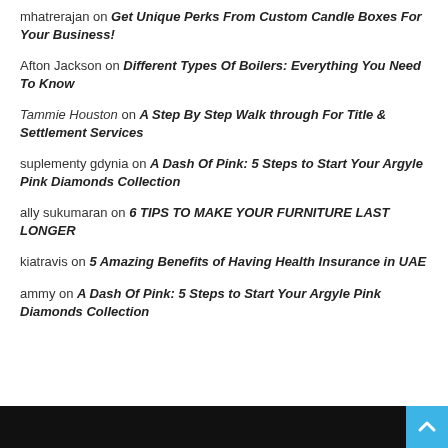mhatrerajan on Get Unique Perks From Custom Candle Boxes For Your Business!
Afton Jackson on Different Types Of Boilers: Everything You Need To Know
Tammie Houston on A Step By Step Walk through For Title & Settlement Services
suplementy gdynia on A Dash Of Pink: 5 Steps to Start Your Argyle Pink Diamonds Collection
ally sukumaran on 6 TIPS TO MAKE YOUR FURNITURE LAST LONGER
kiatravis on 5 Amazing Benefits of Having Health Insurance in UAE
ammy on A Dash Of Pink: 5 Steps to Start Your Argyle Pink Diamonds Collection